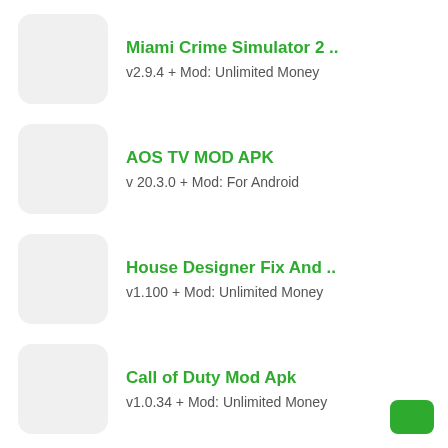Miami Crime Simulator 2 ..
v2.9.4 + Mod: Unlimited Money
AOS TV MOD APK
v 20.3.0 + Mod: For Android
House Designer Fix And ..
v1.100 + Mod: Unlimited Money
Call of Duty Mod Apk
v1.0.34 + Mod: Unlimited Money